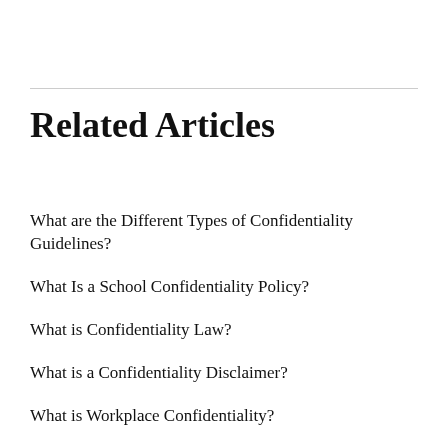Related Articles
What are the Different Types of Confidentiality Guidelines?
What Is a School Confidentiality Policy?
What is Confidentiality Law?
What is a Confidentiality Disclaimer?
What is Workplace Confidentiality?
What is a Confidentiality Policy?